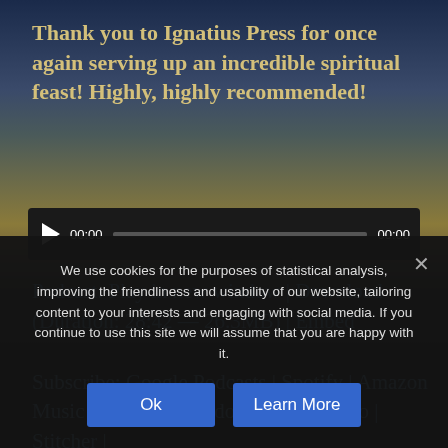Thank you to Ignatius Press for once again serving up an incredible spiritual feast! Highly, highly recommended!
[Figure (other): Audio player with play button, timestamp 00:00, progress bar, end timestamp 00:00 on dark background]
Podcast: Play in new window | Download (Duration: 28:42 — 26.3MB) | Embed
Subscribe: Google Podcasts | Spotify | Amazon Music | Android | Pandora | iHeartRadio | Stitcher |
We use cookies for the purposes of statistical analysis, improving the friendliness and usability of our website, tailoring content to your interests and engaging with social media. If you continue to use this site we will assume that you are happy with it.